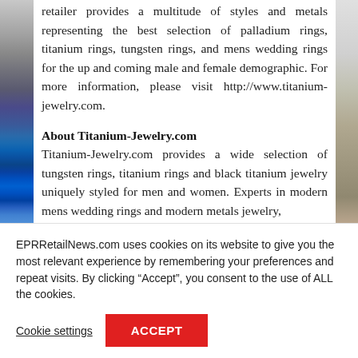retailer provides a multitude of styles and metals representing the best selection of palladium rings, titanium rings, tungsten rings, and mens wedding rings for the up and coming male and female demographic. For more information, please visit http://www.titanium-jewelry.com.
About Titanium-Jewelry.com
Titanium-Jewelry.com provides a wide selection of tungsten rings, titanium rings and black titanium jewelry uniquely styled for men and women. Experts in modern mens wedding rings and modern metals jewelry,
EPRRetailNews.com uses cookies on its website to give you the most relevant experience by remembering your preferences and repeat visits. By clicking “Accept”, you consent to the use of ALL the cookies.
Cookie settings
ACCEPT